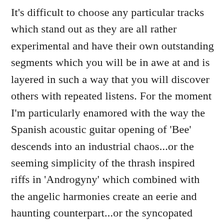It's difficult to choose any particular tracks which stand out as they are all rather experimental and have their own outstanding segments which you will be in awe at and is layered in such a way that you will discover others with repeated listens. For the moment I'm particularly enamored with the way the Spanish acoustic guitar opening of 'Bee' descends into an industrial chaos...or the seeming simplicity of the thrash inspired riffs in 'Androgyny' which combined with the angelic harmonies create an eerie and haunting counterpart...or the syncopated rhythms which make up 'Dragons Kiss'.